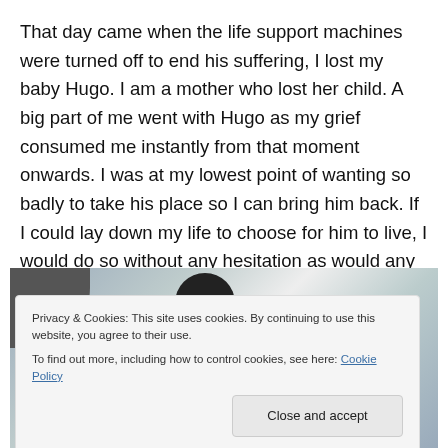That day came when the life support machines were turned off to end his suffering, I lost my baby Hugo. I am a mother who lost her child. A big part of me went with Hugo as my grief consumed me instantly from that moment onwards. I was at my lowest point of wanting so badly to take his place so I can bring him back. If I could lay down my life to choose for him to live, I would do so without any hesitation as would any other parent. I wished I could go back in time and change what had happened to him.
[Figure (photo): Partially visible photograph, cropped by cookie consent banner overlay. Shows dark silhouette/head visible at top center against a lighter background.]
Privacy & Cookies: This site uses cookies. By continuing to use this website, you agree to their use.
To find out more, including how to control cookies, see here: Cookie Policy
Close and accept